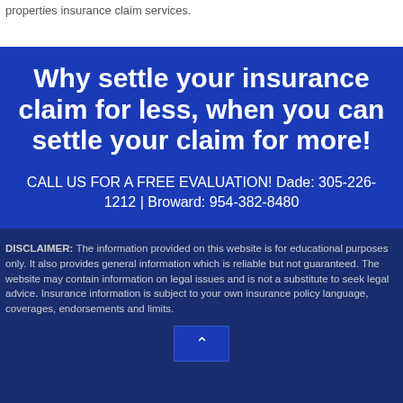properties insurance claim services.
Why settle your insurance claim for less, when you can settle your claim for more!
CALL US FOR A FREE EVALUATION! Dade: 305-226-1212 | Broward: 954-382-8480
DISCLAIMER: The information provided on this website is for educational purposes only. It also provides general information which is reliable but not guaranteed. The website may contain information on legal issues and is not a substitute to seek legal advice. Insurance information is subject to your own insurance policy language, coverages, endorsements and limits.